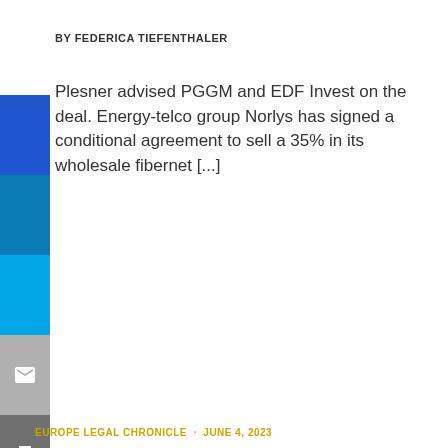BY FEDERICA TIEFENTHALER
Plesner advised PGGM and EDF Invest on the deal. Energy-telco group Norlys has signed a conditional agreement to sell a 35% in its wholesale fibernet [...]
[Figure (infographic): Left sidebar with stacked color blocks: dark blue, medium blue, light blue, gray email icon block, dark gray print icon block]
EUROPE LEGAL CHRONICLE · JUNE 4, 2023